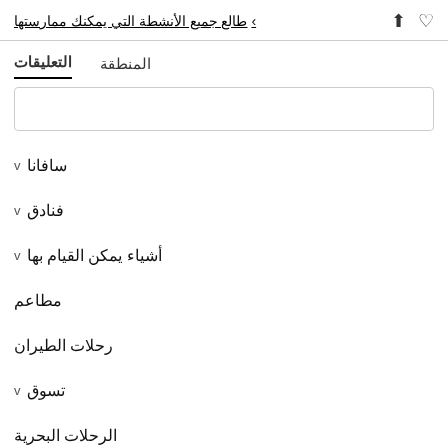طالع جميع الأنشطة التي يمكنك ممارستها
التعليقات  المنطقة
سافانا
فنادق
أشياء يمكن القيام بها
مطاعم
رحلات الطيران
تسوق
الرحلات البحرية